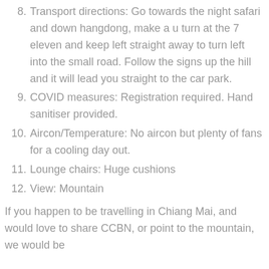8. Transport directions: Go towards the night safari and down hangdong, make a u turn at the 7 eleven and keep left straight away to turn left into the small road. Follow the signs up the hill and it will lead you straight to the car park.
9. COVID measures: Registration required. Hand sanitiser provided.
10. Aircon/Temperature: No aircon but plenty of fans for a cooling day out.
11. Lounge chairs: Huge cushions
12. View: Mountain
If you happen to be travelling in Chiang Mai, and would love to share CCBN, or point to the mountain, we would be